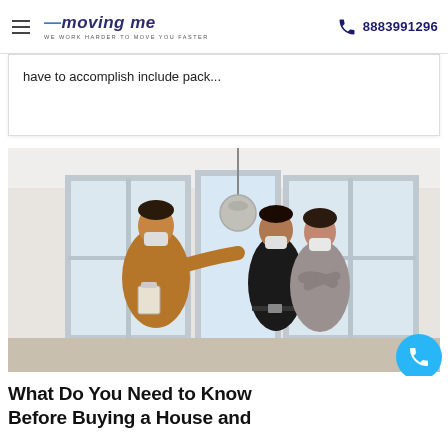moving me — WE WORK HARDER TO MOVE YOU FASTER — 8883991296
have to accomplish include pack...
[Figure (photo): Three people wearing face masks inside a bright room with large windows. A woman in a brown coat holds a clipboard and points, while a man and woman (couple) stand together looking in the direction she is pointing. A globe pendant light hangs from the ceiling.]
What Do You Need to Know Before Buying a House and